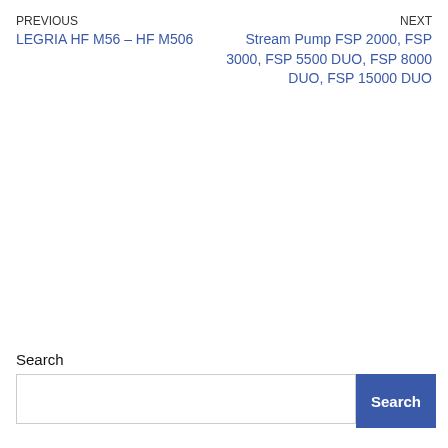PREVIOUS
LEGRIA HF M56 – HF M506
NEXT
Stream Pump FSP 2000, FSP 3000, FSP 5500 DUO, FSP 8000 DUO, FSP 15000 DUO
Search
Search